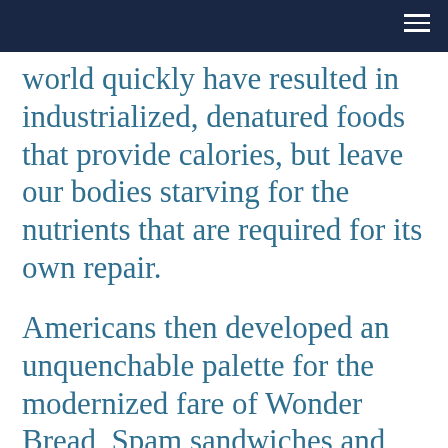world quickly have resulted in industrialized, denatured foods that provide calories, but leave our bodies starving for the nutrients that are required for its own repair.
Americans then developed an unquenchable palette for the modernized fare of Wonder Bread, Spam sandwiches and dinners we could eat in front of our TV sets. The newly adapted diet, along with the seductive infusion of cigarette